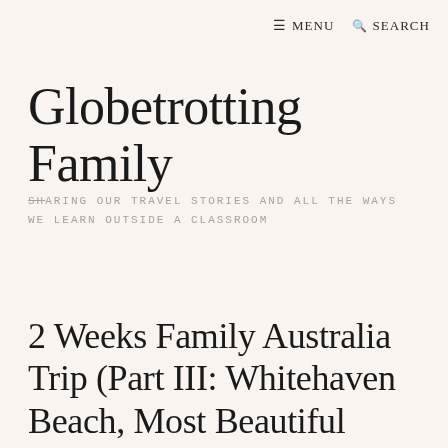≡ MENU  🔍 SEARCH
Globetrotting Family
SHARING OUR TRAVEL STORIES AND ALL THE WAYS WE LEARN OUTSIDE A CLASSROOM
2 Weeks Family Australia Trip (Part III: Whitehaven Beach, Most Beautiful Beach In The World!)